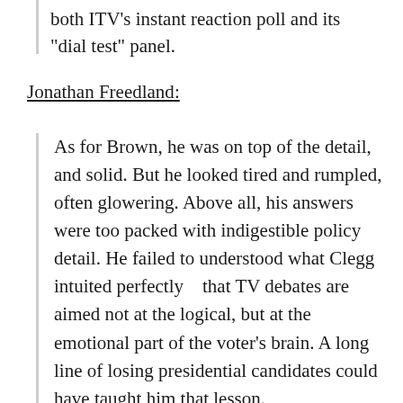both ITV's instant reaction poll and its "dial test" panel.
Jonathan Freedland:
As for Brown, he was on top of the detail, and solid. But he looked tired and rumpled, often glowering. Above all, his answers were too packed with indigestible policy detail. He failed to understood what Clegg intuited perfectly   that TV debates are aimed not at the logical, but at the emotional part of the voter's brain. A long line of losing presidential candidates could have taught him that lesson.